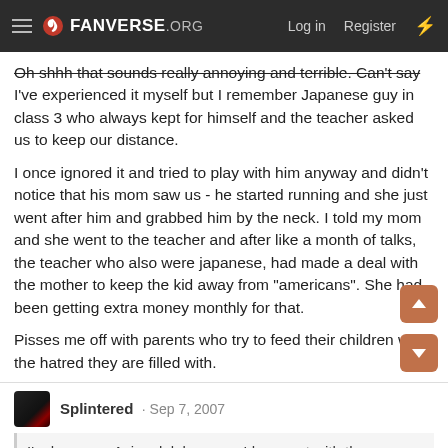FANVERSE.ORG   Log in   Register
Oh shhh that sounds really annoying and terrible. Can't say I've experienced it myself but I remember Japanese guy in class 3 who always kept for himself and the teacher asked us to keep our distance.
I once ignored it and tried to play with him anyway and didn't notice that his mom saw us - he started running and she just went after him and grabbed him by the neck. I told my mom and she went to the teacher and after like a month of talks, the teacher who also were japanese, had made a deal with the mother to keep the kid away from "americans". She had been getting extra money monthly for that.
Pisses me off with parents who try to feed their children with the hatred they are filled with.
Splintered · Sep 7, 2007
I'm honorary Asian, lol, because I hang out with the Chinese girls.